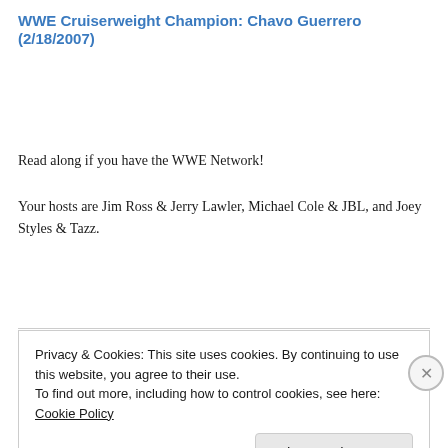WWE Cruiserweight Champion: Chavo Guerrero (2/18/2007)
Read along if you have the WWE Network!
Your hosts are Jim Ross & Jerry Lawler, Michael Cole & JBL, and Joey Styles & Tazz.
Continue reading →
Privacy & Cookies: This site uses cookies. By continuing to use this website, you agree to their use.
To find out more, including how to control cookies, see here: Cookie Policy
Close and accept